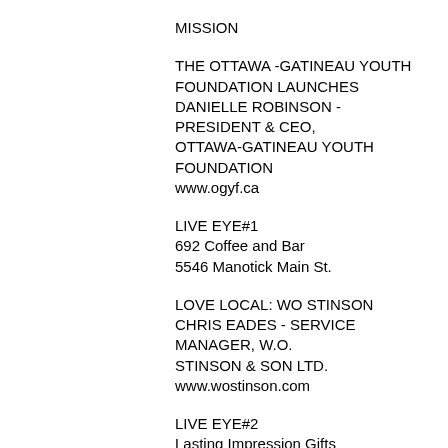MISSION
THE OTTAWA -GATINEAU YOUTH FOUNDATION LAUNCHES
DANIELLE ROBINSON - PRESIDENT & CEO, OTTAWA-GATINEAU YOUTH FOUNDATION
www.ogyf.ca
LIVE EYE#1
692 Coffee and Bar
5546 Manotick Main St.
LOVE LOCAL: WO STINSON
CHRIS EADES - SERVICE MANAGER, W.O. STINSON & SON LTD.
www.wostinson.com
LIVE EYE#2
Lasting Impression Gifts
5552 Manotick Main St
PROTECTING YOURSELF AGAINST COVID-19 INDOORS
DR. MARK SIEDNER - INFECTIOUS